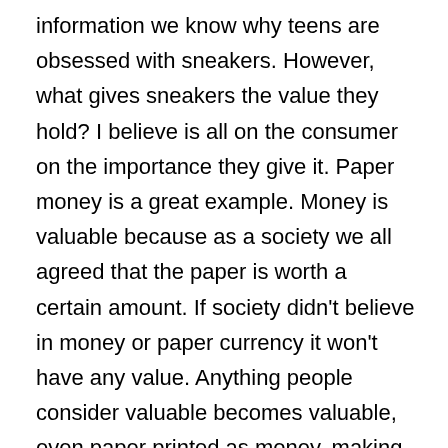information we know why teens are obsessed with sneakers. However, what gives sneakers the value they hold? I believe is all on the consumer on the importance they give it. Paper money is a great example. Money is valuable because as a society we all agreed that the paper is worth a certain amount. If society didn't believe in money or paper currency it won't have any value. Anything people consider valuable becomes valuable, even paper printed as money, making stone or minerals like gold, or even a piece of unique fabric. The point is that what is valuable and trending now is because society has given it value. Society is responsible for the dangers associated with clothing now and society together is the only way to correct it. In addition to this, sneakers are now posing a significant economic burden on lower income families. Since teen do not have a proper grasp on financial